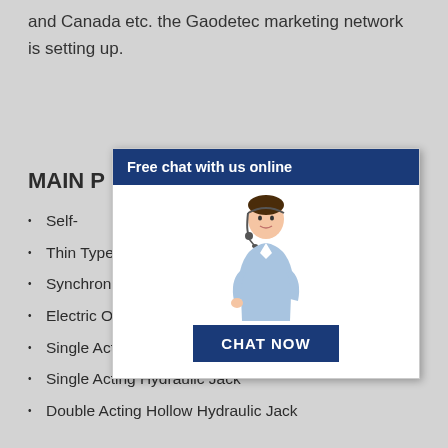and Canada etc. the Gaodetec marketing network is setting up.
MAIN P
[Figure (illustration): Chat popup overlay with a customer service representative cartoon figure, dark blue 'Free chat with us online' header bar, and a 'CHAT NOW' button in dark blue.]
Self- ... ic Jack
Thin Type Single Acting Hydraulic Jack
Synchronous Control Hydraulic Jack
Electric Oil Pump
Single Acting Hollow Hydraulic Jack
Single Acting Hydraulic Jack
Double Acting Hollow Hydraulic Jack